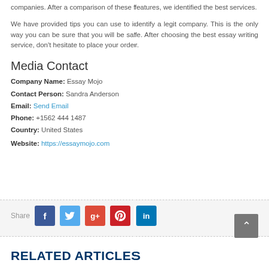companies. After a comparison of these features, we identified the best services.
We have provided tips you can use to identify a legit company. This is the only way you can be sure that you will be safe. After choosing the best essay writing service, don't hesitate to place your order.
Media Contact
Company Name: Essay Mojo
Contact Person: Sandra Anderson
Email: Send Email
Phone: +1562 444 1487
Country: United States
Website: https://essaymojo.com
[Figure (infographic): Share bar with social media buttons: Facebook (blue), Twitter (cyan), Google+ (orange-red), Pinterest (red), LinkedIn (blue). Gray background with dashed top and bottom borders. 'Share' label on left.]
[Figure (other): Back to top button, dark gray square with up arrow chevron, positioned bottom right.]
RELATED ARTICLES